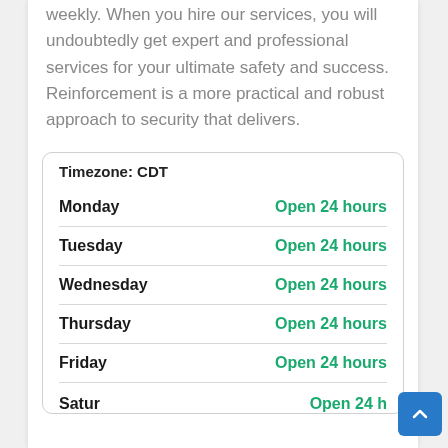weekly. When you hire our services, you will undoubtedly get expert and professional services for your ultimate safety and success. Reinforcement is a more practical and robust approach to security that delivers.
| Day | Hours |
| --- | --- |
| Monday | Open 24 hours |
| Tuesday | Open 24 hours |
| Wednesday | Open 24 hours |
| Thursday | Open 24 hours |
| Friday | Open 24 hours |
| Saturday | Open 24 h... |